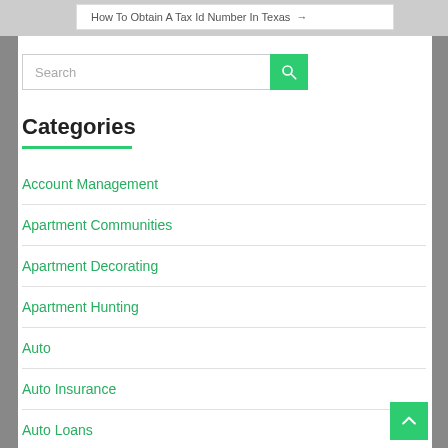How To Obtain A Tax Id Number In Texas →
Categories
Account Management
Apartment Communities
Apartment Decorating
Apartment Hunting
Auto
Auto Insurance
Auto Loans
Bank Accounts